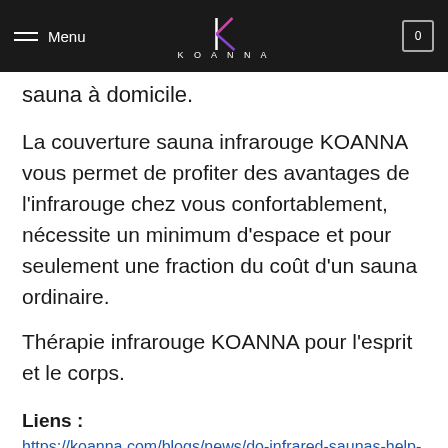Menu | KOANNA
sauna à domicile.
La couverture sauna infrarouge KOANNA vous permet de profiter des avantages de l'infrarouge chez vous confortablement, nécessite un minimum d'espace et pour seulement une fraction du coût d'un sauna ordinaire.
Thérapie infrarouge KOANNA pour l'esprit et le corps.
Liens :
https://koanna.com/blogs/news/do-infrared-saunas-help-with-weight-loss